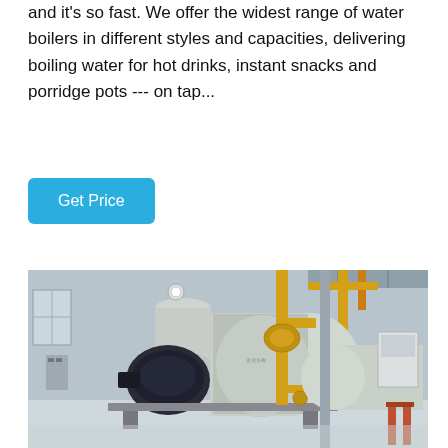and it's so fast. We offer the widest range of water boilers in different styles and capacities, delivering boiling water for hot drinks, instant snacks and porridge pots --- on tap...
Get Price
[Figure (photo): Industrial water boilers in a factory setting. Large cylindrical boilers with yellow gas pipes, pressure gauges, and associated mechanical components visible in an industrial room.]